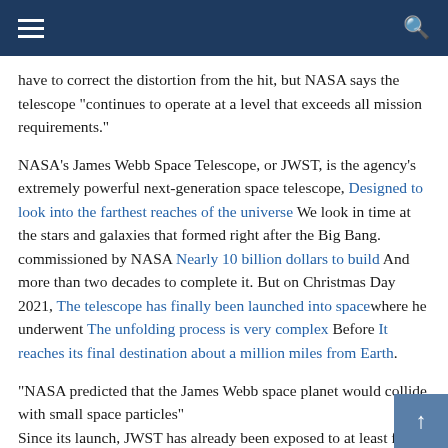Navigation header with hamburger menu and search icon
have to correct the distortion from the hit, but NASA says the telescope “continues to operate at a level that exceeds all mission requirements.”
NASA’s James Webb Space Telescope, or JWST, is the agency’s extremely powerful next-generation space telescope, Designed to look into the farthest reaches of the universe We look in time at the stars and galaxies that formed right after the Big Bang. commissioned by NASA Nearly 10 billion dollars to build And more than two decades to complete it. But on Christmas Day 2021, The telescope has finally been launched into space where he underwent The unfolding process is very complex Before It reaches its final destination about a million miles from Earth.
“NASA predicted that the James Webb space planet would collide with small space particles”
Since its launch, JWST has already been exposed to at least four different nitrogens, According to the NASA blog, but all of these were small and the size of what NASA expected the